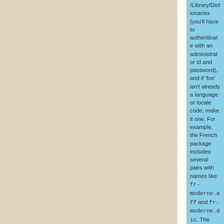/Library/Dictionaries (you'll have to authenticate with an administrator id and password), and if 'foo' isn't already a language or locale code, make it one. For example, the French package includes several pairs with names like fr-moderne.aff and fr-moderne.dic. The spell checker doesn't recognize those names, so when you copy them to /Library/Dictionaries